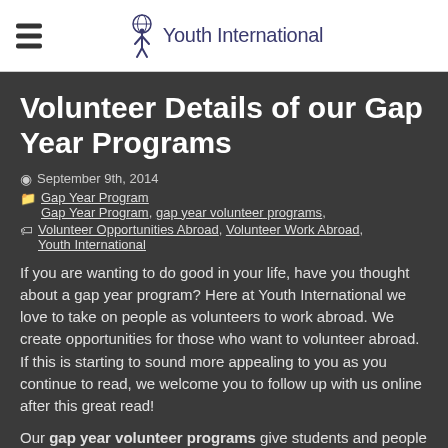Youth International
Volunteer Details of our Gap Year Programs
September 9th, 2014
Gap Year Program
Gap Year Program, gap year volunteer programs, Volunteer Opportunities Abroad, Volunteer Work Abroad, Youth International
If you are wanting to do good in your life, have you thought about a gap year program? Here at Youth International we love to take on people as volunteers to work abroad. We create opportunities for those who want to volunteer abroad. If this is starting to sound more appealing to you as you continue to read, we welcome you to follow up with us online after this great read!
Our gap year volunteer programs give students and people